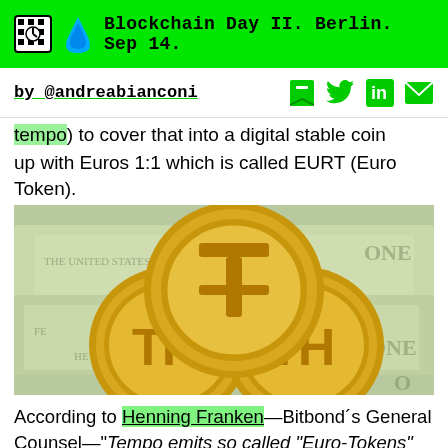Blockchain Day II. Berlin. Sep 14.
by @andreabianconi
tempo) to cover that into a digital stable coin backed up with Euros 1:1 which is called EURT (Euro Token).
[Figure (photo): Three gold-colored coins with the Tether (USDT) logo symbol arranged on top of US dollar bills]
According to Henning Franken—Bitbond´s General Counsel—"Tempo emits so called "Euro-Tokens" on the Stellar blockchain. So they do not use Stellar-Lumens (XLM) but only make use of the underlying